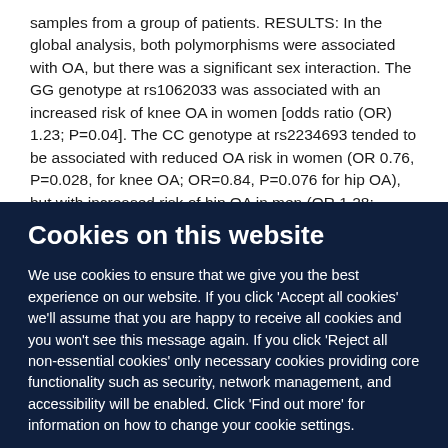samples from a group of patients. RESULTS: In the global analysis, both polymorphisms were associated with OA, but there was a significant sex interaction. The GG genotype at rs1062033 was associated with an increased risk of knee OA in women [odds ratio (OR) 1.23; P=0.04]. The CC genotype at rs2234693 tended to be associated with reduced OA risk in women (OR 0.76, P=0.028, for knee OA; OR=0.84, P=0.076 for hip OA), but with increased risk of hip OA in men (OR 1.28;
Cookies on this website
We use cookies to ensure that we give you the best experience on our website. If you click 'Accept all cookies' we'll assume that you are happy to receive all cookies and you won't see this message again. If you click 'Reject all non-essential cookies' only necessary cookies providing core functionality such as security, network management, and accessibility will be enabled. Click 'Find out more' for information on how to change your cookie settings.